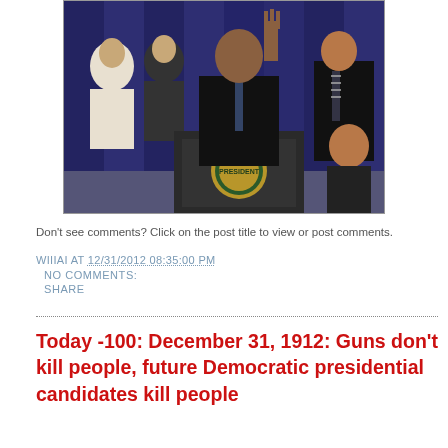[Figure (photo): A person speaking at a presidential podium with the presidential seal, raising one hand with fingers in a gesture. Several people visible in the background in front of a dark blue curtain.]
Don't see comments? Click on the post title to view or post comments.
WIIIAI AT 12/31/2012 08:35:00 PM
NO COMMENTS:
SHARE
Today -100: December 31, 1912: Guns don't kill people, future Democratic presidential candidates kill people